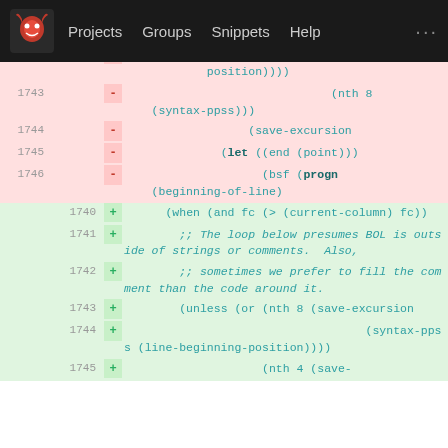Projects  Groups  Snippets  Help  ...
[Figure (screenshot): GitLab diff view showing code changes in Emacs Lisp. Removed lines (red, lines 1743-1746) and added lines (green, lines 1740-1745) showing refactoring of syntax parsing logic with save-excursion, nth, let, bsf, progn, beginning-of-line, when, and, current-column, unless, or, line-beginning-position calls.]